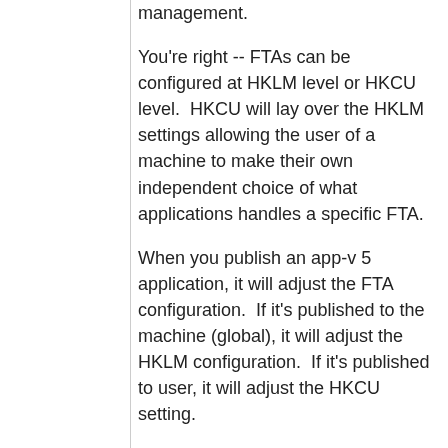management.
You're right -- FTAs can be configured at HKLM level or HKCU level.  HKCU will lay over the HKLM settings allowing the user of a machine to make their own independent choice of what applications handles a specific FTA.
When you publish an app-v 5 application, it will adjust the FTA configuration.  If it's published to the machine (global), it will adjust the HKLM configuration.  If it's published to user, it will adjust the HKCU setting.
If a user never makes a choice as to which program they want to handle the FTA, this works perfectly.  However, if you use the